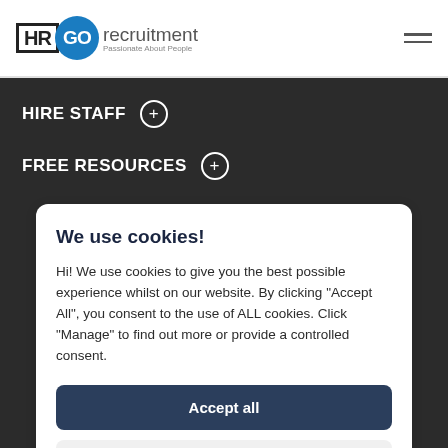HR GO recruitment — Passionate About People
HIRE STAFF
FREE RESOURCES
We use cookies!
Hi! We use cookies to give you the best possible experience whilst on our website. By clicking "Accept All", you consent to the use of ALL cookies. Click "Manage" to find out more or provide a controlled consent.
Accept all
Manage